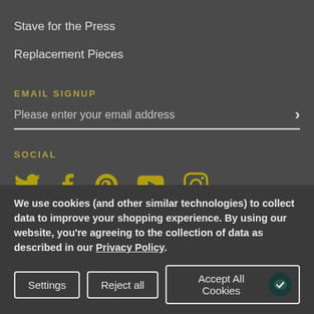Stave for the Press
Replacement Pieces
EMAIL SIGNUP
Please enter your email address
SOCIAL
[Figure (other): Social media icons: Twitter, Facebook, Pinterest, YouTube, Instagram in gold/olive color]
We use cookies (and other similar technologies) to collect data to improve your shopping experience. By using our website, you're agreeing to the collection of data as described in our Privacy Policy.
Settings | Reject all | Accept All Cookies